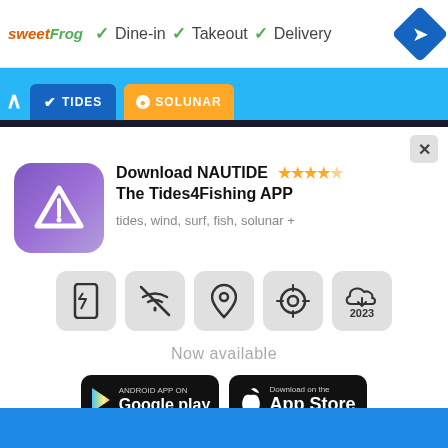[Figure (screenshot): Advertisement banner for SweetFrog with Dine-in, Takeout, Delivery options and navigation icon]
[Figure (screenshot): App navigation bar with TIDES and SOLUNAR tabs on blue background]
[Figure (screenshot): NAUTIDE app promotional card with icon, star rating, feature icons, store badges and subscription note]
Download NAUTIDE The Tides4Fishing APP
tides, wind, surf, fish, solunar +
Now available
* subscription required